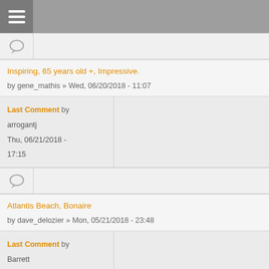[Figure (other): Chat bubble icon row]
Inspiring, 65 years old +, Impressive.
by gene_mathis » Wed, 06/20/2018 - 11:07
Last Comment by arrogantj Thu, 06/21/2018 - 17:15
[Figure (other): Chat bubble icon row]
Atlantis Beach, Bonaire
by dave_delozier » Mon, 05/21/2018 - 23:48
Last Comment by Barrett Mon, 06/18/2018 - 08:46
[Figure (other): Chat bubble icon row]
kiting around ATL in the next few weeks?
by dan_loves_kites » Mon, 05/21/2018 - 14:56